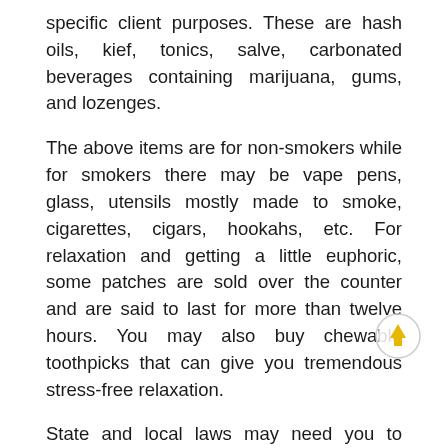specific client purposes. These are hash oils, kief, tonics, salve, carbonated beverages containing marijuana, gums, and lozenges.
The above items are for non-smokers while for smokers there may be vape pens, glass, utensils mostly made to smoke, cigarettes, cigars, hookahs, etc. For relaxation and getting a little euphoric, some patches are sold over the counter and are said to last for more than twelve hours. You may also buy chewable toothpicks that can give you tremendous stress-free relaxation.
State and local laws may need you to furnish all information about your business correctly including separate licenses for a medical and recreational store and IDs of clients visiting your Marijuana Dispensary in California. In case of non-compliance, you may lose